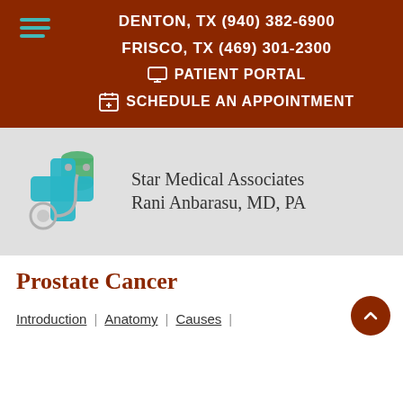DENTON, TX (940) 382-6900
FRISCO, TX (469) 301-2300
PATIENT PORTAL
SCHEDULE AN APPOINTMENT
[Figure (logo): Star Medical Associates logo with teal cross and stethoscope graphic]
Star Medical Associates Rani Anbarasu, MD, PA
Prostate Cancer
Introduction | Anatomy | Causes |